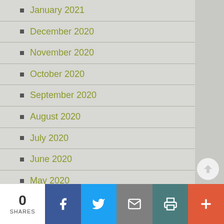January 2021
December 2020
November 2020
October 2020
September 2020
August 2020
July 2020
June 2020
May 2020
April 2020
March 2020
February 2020
0 SHARES  [Facebook] [Twitter] [Email] [Print] [More]